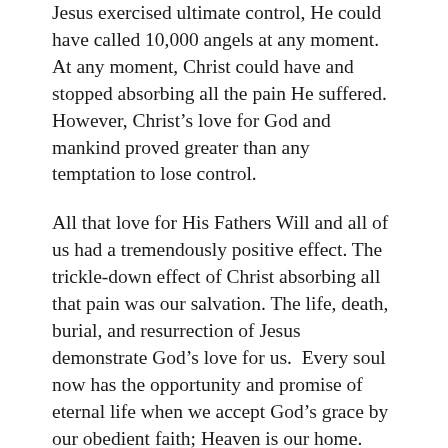Jesus exercised ultimate control, He could have called 10,000 angels at any moment. At any moment, Christ could have and stopped absorbing all the pain He suffered. However, Christ's love for God and mankind proved greater than any temptation to lose control.
All that love for His Fathers Will and all of us had a tremendously positive effect. The trickle-down effect of Christ absorbing all that pain was our salvation. The life, death, burial, and resurrection of Jesus demonstrate God's love for us.  Every soul now has the opportunity and promise of eternal life when we accept God's grace by our obedient faith; Heaven is our home.
Jesus could have gotten angry and lashed out the way many of us might respond, He could have ended all of us at any moment, but instead, Jesus was consumed with love and compassion and exercised control.
Jesus had experienced pain and rejection before, but He